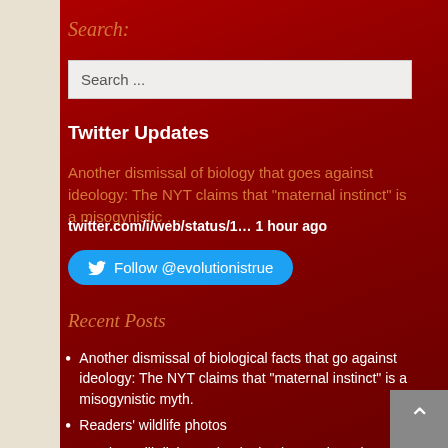Search:
Search ...
Twitter Updates
Another dismissal of biology that goes against ideology: The NYT claims that “maternal instinct” is a misogynistic …
twitter.com/i/web/status/1… 1 hour ago
Follow @evolutionistrue
Recent Posts
Another dismissal of biological facts that go against ideology: The NYT claims that “maternal instinct” is a misogynistic myth.
Readers’ wildlife photos
Sunday: Hili dialogue (and Mietek monologue)
Caturday felid trifecta: BBC features rescue of Icicle the cat from the Yarmouth River; two male calicos in the same litter; opera cat